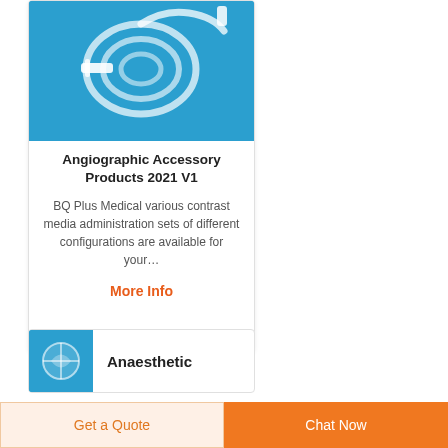[Figure (photo): Medical contrast media administration set tubing coiled on a blue background]
Angiographic Accessory Products 2021 V1
BQ Plus Medical various contrast media administration sets of different configurations are available for your…
More Info
[Figure (photo): Anaesthetic product thumbnail image on blue background]
Anaesthetic
Get a Quote
Chat Now